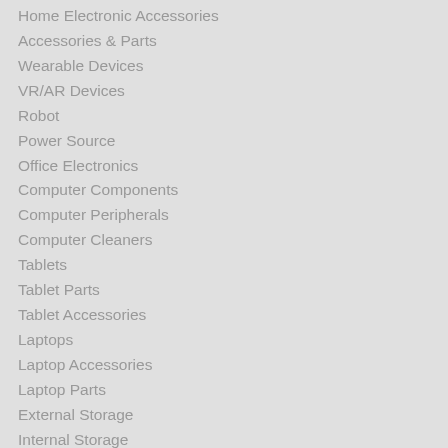Home Electronic Accessories
Accessories & Parts
Wearable Devices
VR/AR Devices
Robot
Power Source
Office Electronics
Computer Components
Computer Peripherals
Computer Cleaners
Tablets
Tablet Parts
Tablet Accessories
Laptops
Laptop Accessories
Laptop Parts
External Storage
Internal Storage
Networking
Cables & Connectors
Mini PC
Desktops & Servers